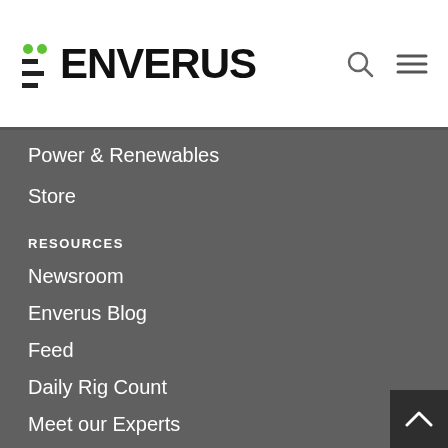ENVERUS
Power & Renewables
Store
RESOURCES
Newsroom
Enverus Blog
Feed
Daily Rig Count
Meet our Experts
Login